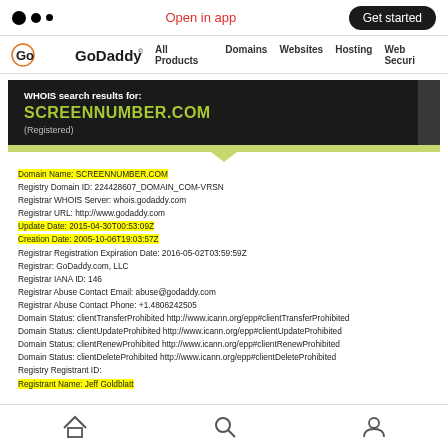Open in app | Get started
[Figure (logo): GoDaddy logo with navigation links: All Products, Domains, Websites, Hosting, Web Securi]
[Figure (screenshot): WHOIS search results for: SCREENNUMBER.COM (Registered) - dark banner with green domain name]
Domain Name: SCREENNUMBER.COM
Registry Domain ID: 224428607_DOMAIN_COM-VRSN
Registrar WHOIS Server: whois.godaddy.com
Registrar URL: http://www.godaddy.com
Update Date: 2015-04-30T00:53:09Z
Creation Date: 2005-10-06T19:03:57Z
Registrar Registration Expiration Date: 2016-05-02T03:59:59Z
Registrar: GoDaddy.com, LLC
Registrar IANA ID: 146
Registrar Abuse Contact Email: abuse@godaddy.com
Registrar Abuse Contact Phone: +1.4806242505
Domain Status: clientTransferProhibited http://www.icann.org/epp#clientTransferProhibited
Domain Status: clientUpdateProhibited http://www.icann.org/epp#clientUpdateProhibited
Domain Status: clientRenewProhibited http://www.icann.org/epp#clientRenewProhibited
Domain Status: clientDeleteProhibited http://www.icann.org/epp#clientDeleteProhibited
Registry Registrant ID:
Registrant Name: Jeff Goldblatt
Home | Search | Profile